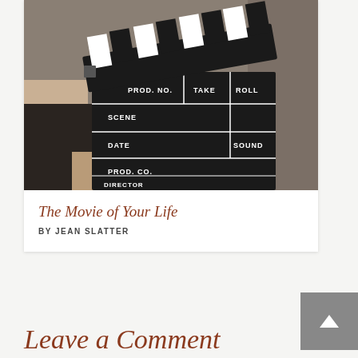[Figure (photo): A person holding a film clapperboard with fields: PROD. NO., SCENE, TAKE, ROLL, DATE, SOUND, PROD. CO., DIRECTOR, CAMERAMAN on a dark background.]
The Movie of Your Life
BY JEAN SLATTER
Leave a Comment